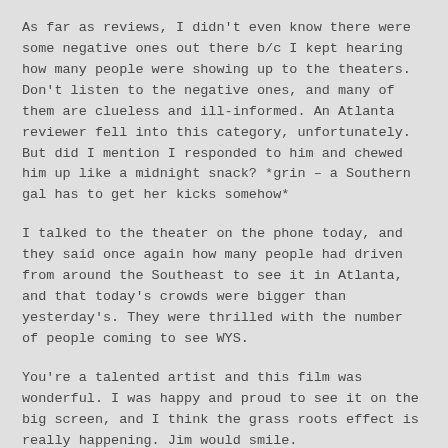As far as reviews, I didn't even know there were some negative ones out there b/c I kept hearing how many people were showing up to the theaters. Don't listen to the negative ones, and many of them are clueless and ill-informed. An Atlanta reviewer fell into this category, unfortunately. But did I mention I responded to him and chewed him up like a midnight snack? *grin – a Southern gal has to get her kicks somehow*
I talked to the theater on the phone today, and they said once again how many people had driven from around the Southeast to see it in Atlanta, and that today's crowds were bigger than yesterday's. They were thrilled with the number of people coming to see WYS.
You're a talented artist and this film was wonderful. I was happy and proud to see it on the big screen, and I think the grass roots effect is really happening. Jim would smile.